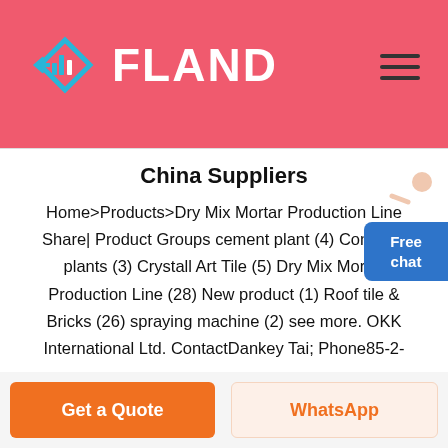FLAND
China Suppliers
Home>Products>Dry Mix Mortar Production Line Share| Product Groups cement plant (4) Concrete plants (3) Crystall Art Tile (5) Dry Mix Mortar Production Line (28) New product (1) Roof tile & Bricks (26) spraying machine (2) see more. OKK International Ltd. ContactDankey Tai; Phone85-2-96611933;
Get a Quote
WhatsApp